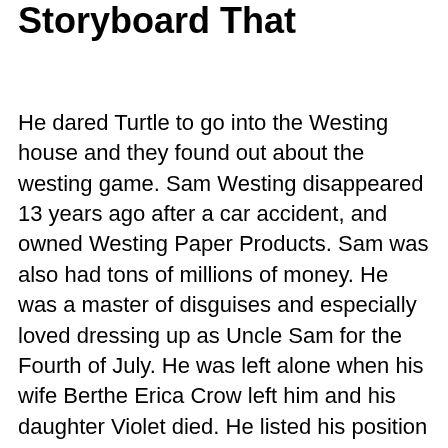Storyboard That
He dared Turtle to go into the Westing house and they found out about the westing game. Sam Westing disappeared 13 years ago after a car accident, and owned Westing Paper Products. Sam was also had tons of millions of money. He was a master of disguises and especially loved dressing up as Uncle Sam for the Fourth of July. He was left alone when his wife Berthe Erica Crow left him and his daughter Violet died. He listed his position in the Westing Game as "Intern, Saint Joseph's Hospital, Plastic Surgery Department." Denton Deere's partner in the Westing Game was Chris Theodorakis. At first he thinks that it was for medical help for Chris (which actually became true) and is not very happy.